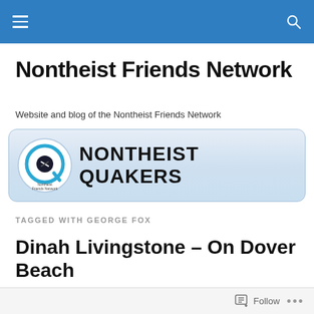Nontheist Friends Network — navigation bar with hamburger menu and search icon
Nontheist Friends Network
Website and blog of the Nontheist Friends Network
[Figure (logo): Nontheist Quakers banner with circular Quaker Q logo and bold text reading NONTHEIST QUAKERS]
TAGGED WITH GEORGE FOX
Dinah Livingstone – On Dover Beach
Follow ...